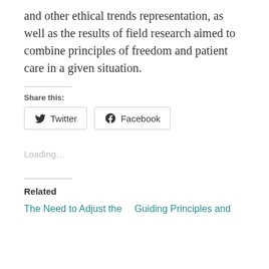and other ethical trends representation, as well as the results of field research aimed to combine principles of freedom and patient care in a given situation.
Share this:
[Figure (other): Twitter and Facebook share buttons]
Loading…
Related
The Need to Adjust the
Guiding Principles and